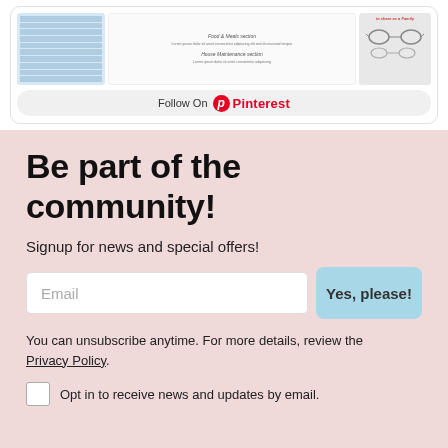[Figure (screenshot): Pinterest board preview showing document images arranged in a grid with a 'Follow On Pinterest' button below]
Be part of the community!
Signup for news and special offers!
Email
Yes, please!
You can unsubscribe anytime. For more details, review the Privacy Policy.
Opt in to receive news and updates by email.